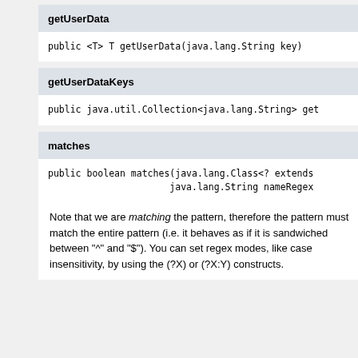getUserData
public <T> T getUserData(java.lang.String key)
getUserDataKeys
public java.util.Collection<java.lang.String> get
matches
public boolean matches(java.lang.Class<? extends
                       java.lang.String nameRegex
Note that we are matching the pattern, therefore the pattern must match the entire pattern (i.e. it behaves as if it is sandwiched between "^" and "$"). You can set regex modes, like case insensitivity, by using the (?X) or (?X:Y) constructs.